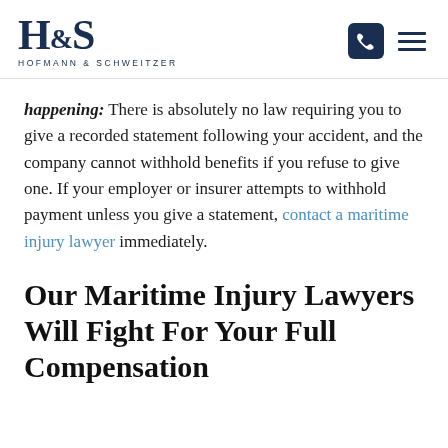H&S HOFMANN & SCHWEITZER
happening: There is absolutely no law requiring you to give a recorded statement following your accident, and the company cannot withhold benefits if you refuse to give one. If your employer or insurer attempts to withhold payment unless you give a statement, contact a maritime injury lawyer immediately.
Our Maritime Injury Lawyers Will Fight For Your Full Compensation